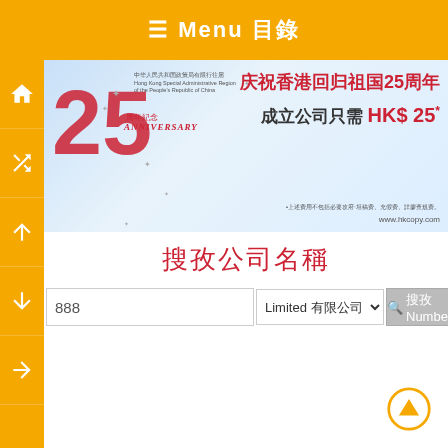≡ Menu 目錄
[Figure (illustration): Banner advertisement for Hong Kong 25th Anniversary company registration promotion. Shows '25 周年紀念 Anniversary' in red on blue background with text: 慶祝香港回歸祖國25周年 成立公司只需 HK$25* and website www.hkcopy.com]
搜尋公司名稱
888  [input field]  Limited 有限公司 [dropdown]  🔍 搜尋 Number [button]